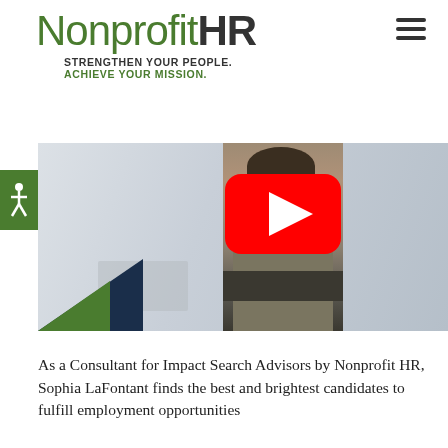Nonprofit HR — STRENGTHEN YOUR PEOPLE. ACHIEVE YOUR MISSION.
[Figure (screenshot): Video thumbnail showing a woman in a blazer in an office setting with a YouTube play button overlay; office interior background; green and dark blue triangle decoration in lower-left corner. Accessibility icon on the left edge.]
As a Consultant for Impact Search Advisors by Nonprofit HR, Sophia LaFontant finds the best and brightest candidates to fulfill employment opportunities